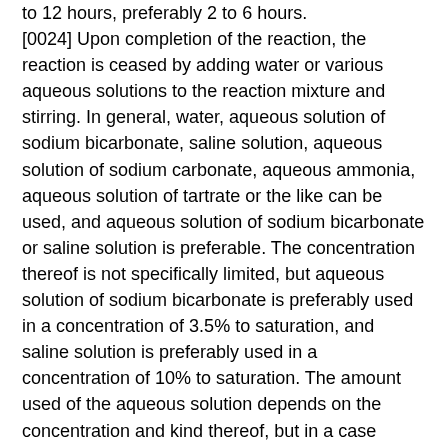to 12 hours, preferably 2 to 6 hours. [0024] Upon completion of the reaction, the reaction is ceased by adding water or various aqueous solutions to the reaction mixture and stirring. In general, water, aqueous solution of sodium bicarbonate, saline solution, aqueous solution of sodium carbonate, aqueous ammonia, aqueous solution of tartrate or the like can be used, and aqueous solution of sodium bicarbonate or saline solution is preferable. The concentration thereof is not specifically limited, but aqueous solution of sodium bicarbonate is preferably used in a concentration of 3.5% to saturation, and saline solution is preferably used in a concentration of 10% to saturation. The amount used of the aqueous solution depends on the concentration and kind thereof, but in a case where a saturated aqueous solution of sodium bicarbonate is used, it is generally used in amount of 0.1 to 10 times (volume ratio), preferably 0.1 to 5 times (volume ratio) based on the reaction mixture. [0025] The method for extracting the reaction product from the reaction mixture depends on the kind of the reaction solvent. In a case where tetrahydrofuran is